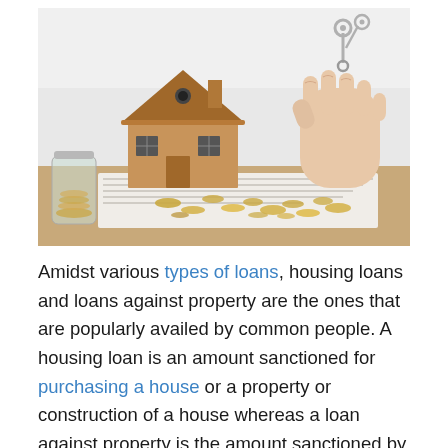[Figure (photo): A wooden model house and a hand holding keys above scattered coins on a tabletop, with a glass jar of coins to the left, depicting home loan or mortgage concept.]
Amidst various types of loans, housing loans and loans against property are the ones that are popularly availed by common people. A housing loan is an amount sanctioned for purchasing a house or a property or construction of a house whereas a loan against property is the amount sanctioned by keeping